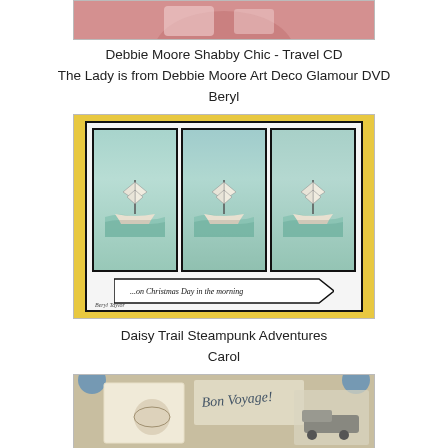[Figure (photo): Top portion of a crafted card with pink/red background showing a lady figure, partially visible]
Debbie Moore Shabby Chic - Travel CD
The Lady is from Debbie Moore Art Deco Glamour DVD
Beryl
[Figure (photo): Handmade card with yellow border and white inner card showing three panels each with a sailing ship on green-blue sea watercolor background, banner at bottom reads '...on Christmas Day in the morning', signed Beryl Taylor]
Daisy Trail Steampunk Adventures
Carol
[Figure (photo): Partially visible travel-themed collage card with Bon Voyage text, train imagery, globe, and vintage postcard elements]